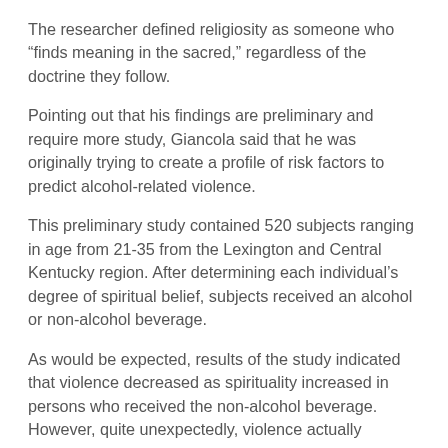The researcher defined religiosity as someone who “finds meaning in the sacred,” regardless of the doctrine they follow.
Pointing out that his findings are preliminary and require more study, Giancola said that he was originally trying to create a profile of risk factors to predict alcohol-related violence.
This preliminary study contained 520 subjects ranging in age from 21-35 from the Lexington and Central Kentucky region. After determining each individual’s degree of spiritual belief, subjects received an alcohol or non-alcohol beverage.
As would be expected, results of the study indicated that violence decreased as spirituality increased in persons who received the non-alcohol beverage. However, quite unexpectedly, violence actually